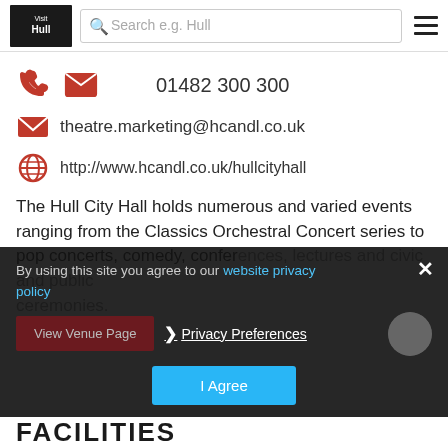Visit Hull | Search e.g. Hull
01482 300 300
theatre.marketing@hcandl.co.uk
http://www.hcandl.co.uk/hullcityhall
The Hull City Hall holds numerous and varied events ranging from the Classics Orchestral Concert series to pop concerts, comedy, conferences, lectures and civic and public ceremonies.
By using this site you agree to our website privacy policy
View Venue Page
Privacy Preferences
I Agree
FACILITIES